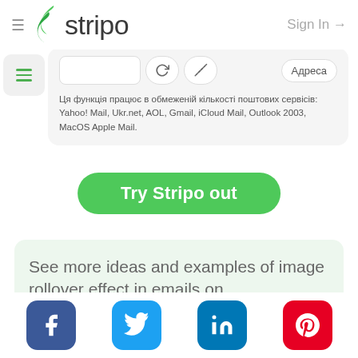≡ stripo  Sign In →
[Figure (screenshot): Stripo email editor UI panel showing a toolbar with input box, refresh icon, magic wand icon, and Адреса button, with a note in Ukrainian about supported mail services.]
Ця функція працює в обмеженій кількості поштових сервісів: Yahoo! Mail, Ukr.net, AOL, Gmail, iCloud Mail, Outlook 2003, MacOS Apple Mail.
[Figure (screenshot): Green rounded button labeled 'Try Stripo out']
See more ideas and examples of image rollover effect in emails on
Facebook  Twitter  LinkedIn  Pinterest social share icons